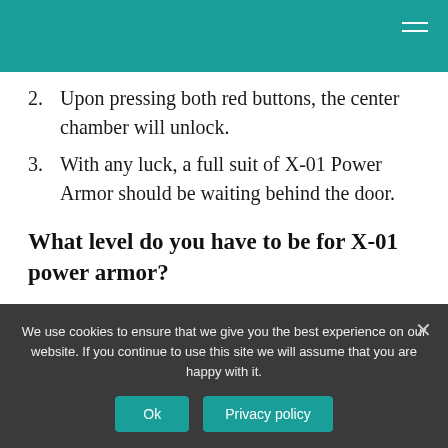2. Upon pressing both red buttons, the center chamber will unlock.
3. With any luck, a full suit of X-01 Power Armor should be waiting behind the door.
What level do you have to be for X-01 power armor?
level 28
The Fallout 4 community is saying you that
We use cookies to ensure that we give you the best experience on our website. If you continue to use this site we will assume that you are happy with it.